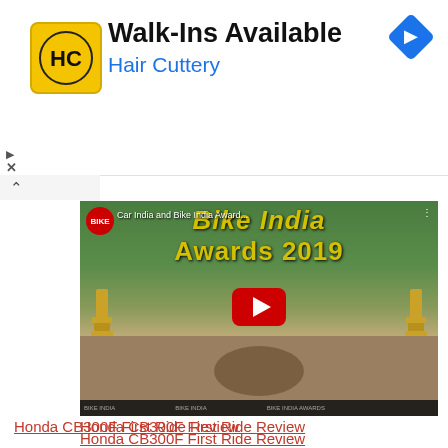[Figure (screenshot): Hair Cuttery advertisement banner with yellow HC logo, text 'Walk-Ins Available' and 'Hair Cuttery' in blue, and a blue diamond navigation arrow icon on the right]
[Figure (screenshot): YouTube video thumbnail showing 'Car India and Bike India Awards 2019' with Bike India logo, multiple motorcycles arranged in a circle around a roundabout, two golden award trophies on either side, red YouTube play button in center, and text 'Bike India Awards 2019' in yellow]
Honda CB300F First Ride Review
Honda 2022 CB300F Launched